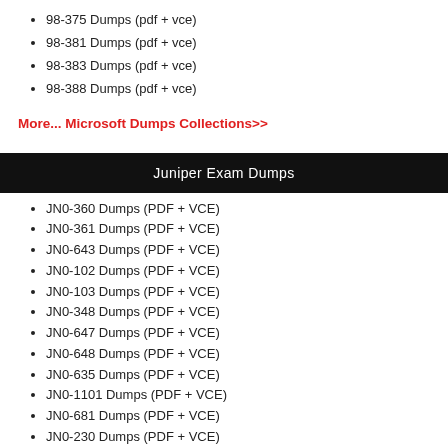98-375 Dumps (pdf + vce)
98-381 Dumps (pdf + vce)
98-383 Dumps (pdf + vce)
98-388 Dumps (pdf + vce)
More... Microsoft Dumps Collections>>
Juniper Exam Dumps
JN0-360 Dumps (PDF + VCE)
JN0-361 Dumps (PDF + VCE)
JN0-643 Dumps (PDF + VCE)
JN0-102 Dumps (PDF + VCE)
JN0-103 Dumps (PDF + VCE)
JN0-348 Dumps (PDF + VCE)
JN0-647 Dumps (PDF + VCE)
JN0-648 Dumps (PDF + VCE)
JN0-635 Dumps (PDF + VCE)
JN0-1101 Dumps (PDF + VCE)
JN0-681 Dumps (PDF + VCE)
JN0-230 Dumps (PDF + VCE)